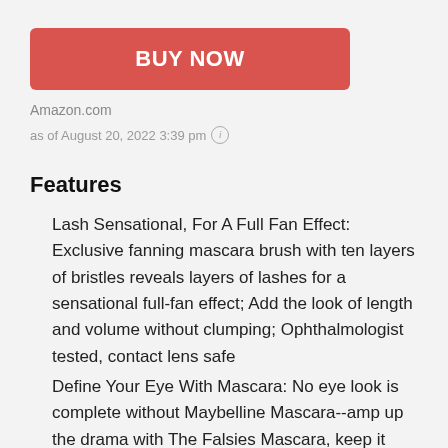[Figure (other): Red BUY NOW button]
Amazon.com
as of August 20, 2022 3:39 pm ℹ
Features
Lash Sensational, For A Full Fan Effect: Exclusive fanning mascara brush with ten layers of bristles reveals layers of lashes for a sensational full-fan effect; Add the look of length and volume without clumping; Ophthalmologist tested, contact lens safe
Define Your Eye With Mascara: No eye look is complete without Maybelline Mascara--amp up the drama with The Falsies Mascara, keep it classic with the iconic Maybelline Great Lash, or go for a smooth, clump-free natural-but-better look with